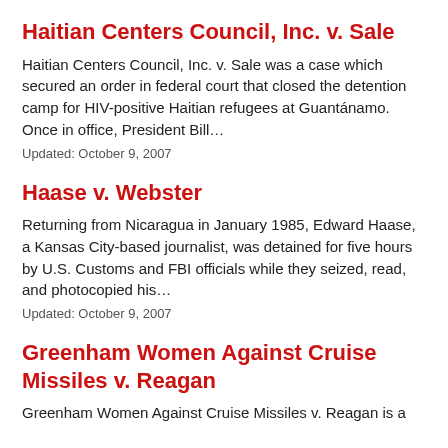Haitian Centers Council, Inc. v. Sale
Haitian Centers Council, Inc. v. Sale was a case which secured an order in federal court that closed the detention camp for HIV-positive Haitian refugees at Guantánamo. Once in office, President Bill…
Updated: October 9, 2007
Haase v. Webster
Returning from Nicaragua in January 1985, Edward Haase, a Kansas City-based journalist, was detained for five hours by U.S. Customs and FBI officials while they seized, read, and photocopied his…
Updated: October 9, 2007
Greenham Women Against Cruise Missiles v. Reagan
Greenham Women Against Cruise Missiles v. Reagan is a